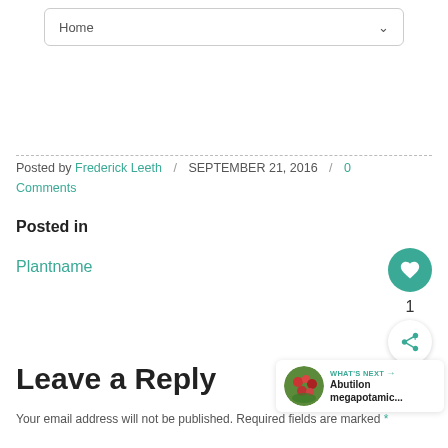Home
Posted by Frederick Leeth / SEPTEMBER 21, 2016 / 0 Comments
Posted in
Plantname
Leave a Reply
WHAT'S NEXT → Abutilon megapotamic...
Your email address will not be published. Required fields are marked *